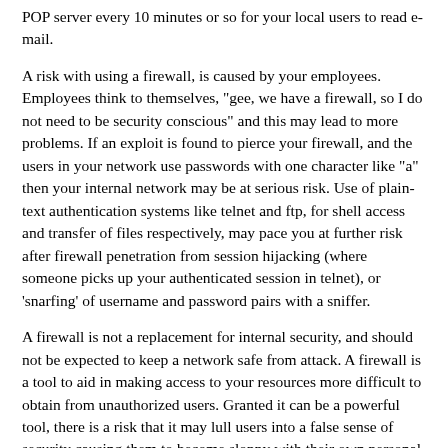POP server every 10 minutes or so for your local users to read e-mail.
A risk with using a firewall, is caused by your employees. Employees think to themselves, "gee, we have a firewall, so I do not need to be security conscious" and this may lead to more problems. If an exploit is found to pierce your firewall, and the users in your network use passwords with one character like "a" then your internal network may be at serious risk. Use of plain-text authentication systems like telnet and ftp, for shell access and transfer of files respectively, may pace you at further risk after firewall penetration from session hijacking (where someone picks up your authenticated session in telnet), or 'snarfing' of username and password pairs with a sniffer.
A firewall is not a replacement for internal security, and should not be expected to keep a network safe from attack. A firewall is a tool to aid in making access to your resources more difficult to obtain from unauthorized users. Granted it can be a powerful tool, there is a risk that it may lull users into a false sense of security causing them to become sloppy with their own personal security. A filtering firewall is not a complex thing, and neither is the operation, but the understanding of what services are at risk, and how they function is a non-trivial task. A great deal of memorization an experience helps a network administrator to properly create a policy to limit access to internal LAN resources.